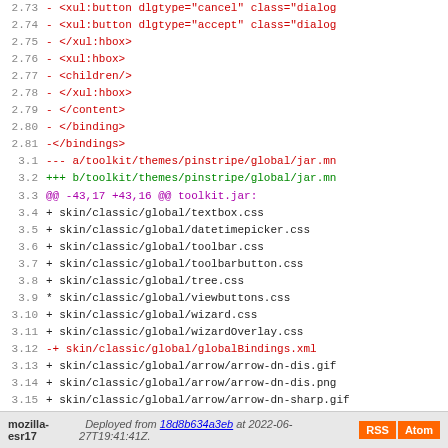[Figure (screenshot): Code diff view showing lines 2.73-3.20 of a source diff. Red lines show deletions (XUL markup), green lines show additions (file paths), purple shows hunk headers, and black/green lines show added CSS/resource file entries. Line 3.12 is shown in red/orange indicating a modified file.]
mozilla-esr17  Deployed from 18d8b634a3eb at 2022-06-27T19:41:41Z.  RSS  Atom